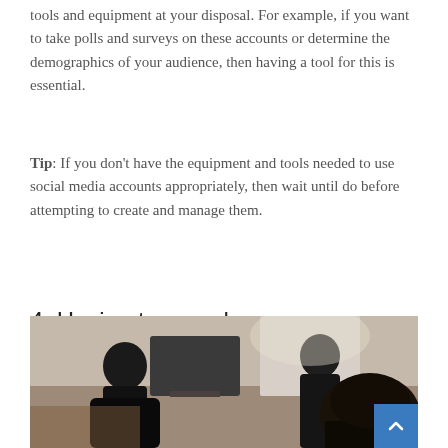tools and equipment at your disposal. For example, if you want to take polls and surveys on these accounts or determine the demographics of your audience, then having a tool for this is essential.
Tip: If you don't have the equipment and tools needed to use social media accounts appropriately, then wait until do before attempting to create and manage them.
4. Having too much on your company's plate
[Figure (photo): Office scene with people working at computers, viewed from the side.]